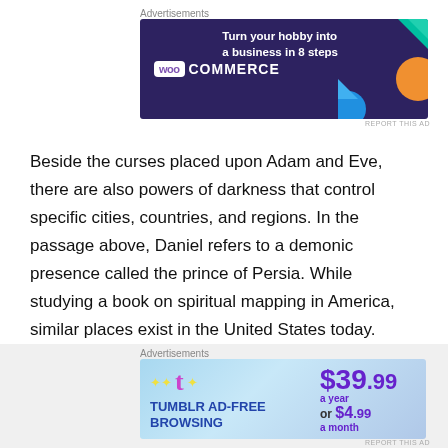[Figure (other): WooCommerce advertisement banner: dark purple background with WooCommerce logo on left and text 'Turn your hobby into a business in 8 steps' on right with colorful geometric shapes]
Beside the curses placed upon Adam and Eve, there are also powers of darkness that control specific cities, countries, and regions. In the passage above, Daniel refers to a demonic presence called the prince of Persia. While studying a book on spiritual mapping in America, similar places exist in the United States today. While you probably won't hear about this, the apostle Paul is clear about spiritual forces of evil, Ephesians 6:12. The best way to overcome curses is by arming yourself with the
[Figure (other): Tumblr Ad-Free Browsing advertisement: light blue background with Tumblr logo on left, price $39.99 a year or $4.99 a month on right]